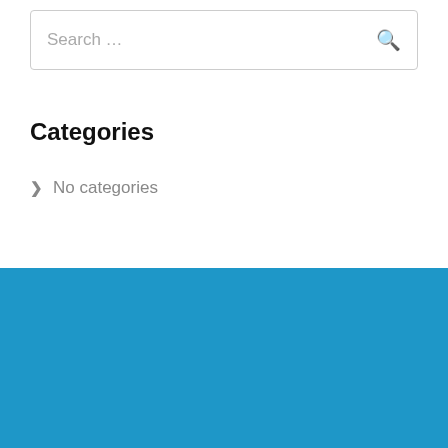Search …
Categories
> No categories
Latest Tweets
@Twitter Feed